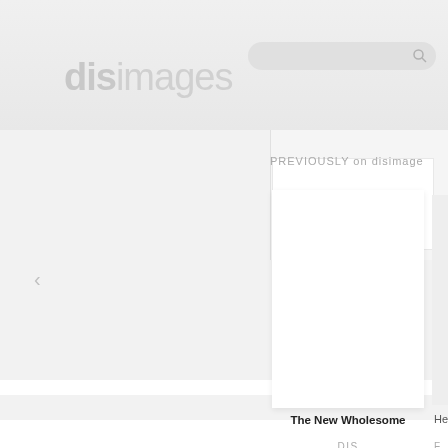disimages
annedevries
[Figure (screenshot): Search bar with magnifying glass icon on gray rounded background]
PREVIOUSLY on disimage
<
[Figure (screenshot): White thumbnail card placeholder]
The New Wholesome
DIS
He
F